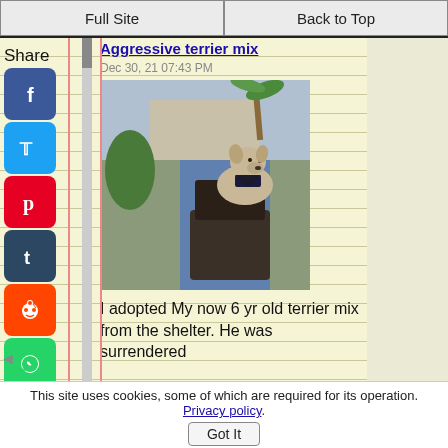Full Site | Back to Top
Aggressive terrier mix
Dec 30, 21 07:43 PM
[Figure (photo): A small terrier mix dog sitting on a wicker chair outdoors, wearing a bandana, with a person in a blue jacket behind it]
I adopted My now 6 yr old terrier mix from the shelter. He was surrendered
This site uses cookies, some of which are required for its operation. Privacy policy. Got It